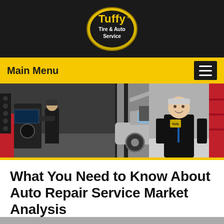[Figure (logo): Tuffy Tire & Auto Service logo badge, gold/yellow shield shape with black text]
Main Menu
[Figure (photo): Auto repair shop photos: mechanic at tire balancing machine, car on lift with hood open, and a smiling service manager in black uniform standing in front of shop]
What You Need to Know About Auto Repair Service Market Analysis
March 26, 2018